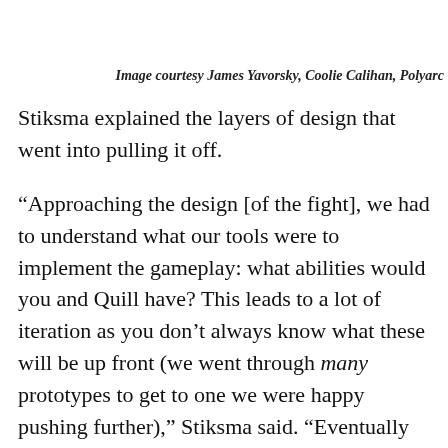Image courtesy James Yavorsky, Coolie Calihan, Polyarc
Stiksma explained the layers of design that went into pulling it off.
“Approaching the design [of the fight], we had to understand what our tools were to implement the gameplay: what abilities would you and Quill have? This leads to a lot of iteration as you don’t always know what these will be up front (we went through many prototypes to get to one we were happy pushing further),” Stiksma said. “Eventually we settled on the goal for Quill to use her hammer in some way, while also needing the player to reach in and grab the